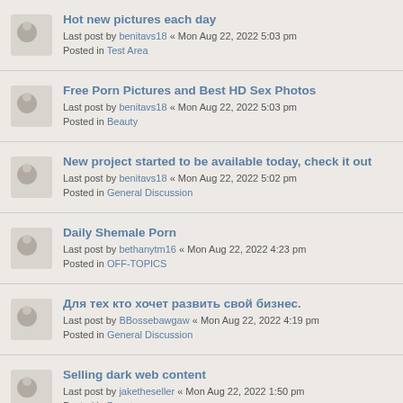Hot new pictures each day
Last post by benitavs18 « Mon Aug 22, 2022 5:03 pm
Posted in Test Area
Free Porn Pictures and Best HD Sex Photos
Last post by benitavs18 « Mon Aug 22, 2022 5:03 pm
Posted in Beauty
New project started to be available today, check it out
Last post by benitavs18 « Mon Aug 22, 2022 5:02 pm
Posted in General Discussion
Daily Shemale Porn
Last post by bethanytm16 « Mon Aug 22, 2022 4:23 pm
Posted in OFF-TOPICS
Для тех кто хочет развить свой бизнес.
Last post by BBossebawgaw « Mon Aug 22, 2022 4:19 pm
Posted in General Discussion
Selling dark web content
Last post by jaketheseller « Mon Aug 22, 2022 1:50 pm
Posted in Beauty
대한민국 최고 수 의 전문 병원 온라인 채용. '지원 자격 및 필수 역량 요건 삽입하기' 에서 지원서를 제출 하십. 70세 이하의 8번. '대한민국최고(49.6%)의 전문 병원.'